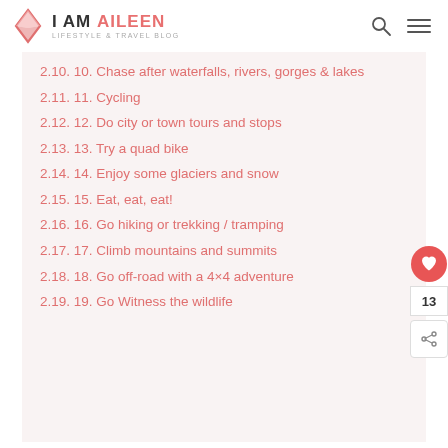i AM AiLEEN - LIFESTYLE & TRAVEL BLOG
2.10. 10. Chase after waterfalls, rivers, gorges & lakes
2.11. 11. Cycling
2.12. 12. Do city or town tours and stops
2.13. 13. Try a quad bike
2.14. 14. Enjoy some glaciers and snow
2.15. 15. Eat, eat, eat!
2.16. 16. Go hiking or trekking / tramping
2.17. 17. Climb mountains and summits
2.18. 18. Go off-road with a 4×4 adventure
2.19. 19. Go Witness the wildlife